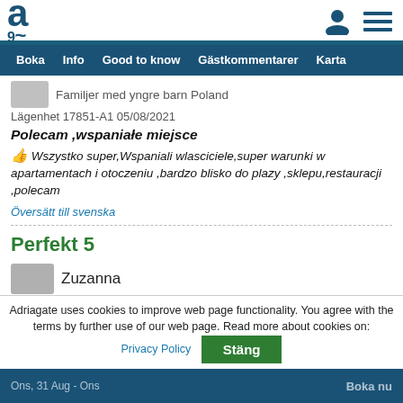Adriagate logo and navigation: Boka | Info | Good to know | Gästkommentarer | Karta
Familjer med yngre barn Poland
Lägenhet 17851-A1 05/08/2021
Polecam ,wspaniałe miejsce
👍 Wszystko super,Wspaniali wlasciciele,super warunki w apartamentach i otoczeniu ,bardzo blisko do plazy ,sklepu,restauracji ,polecam
Översätt till svenska
Perfekt 5
Zuzanna
Adriagate uses cookies to improve web page functionality. You agree with the terms by further use of our web page. Read more about cookies on: Privacy Policy  Stäng
Ons, 31 Aug - Ons   Boka nu